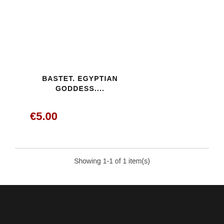BASTET. EGYPTIAN GODDESS....
€5.00
Showing 1-1 of 1 item(s)
ABOUT US